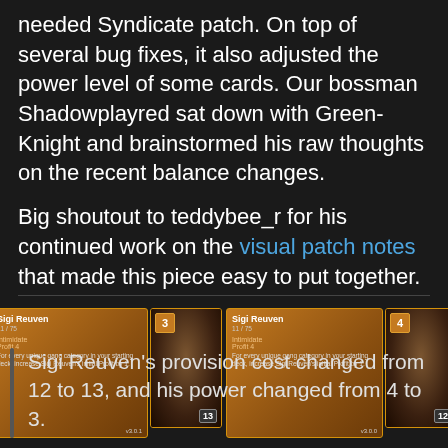needed Syndicate patch. On top of several bug fixes, it also adjusted the power level of some cards. Our bossman Shadowplayred sat down with Green-Knight and brainstormed his raw thoughts on the recent balance changes.
Big shoutout to teddybee_r for his continued work on the visual patch notes that made this piece easy to put together.
[Figure (illustration): Two side-by-side card comparisons for Sigi Reuven. Left pair shows v3.0.1 version with power 3 and provision 13. Right pair shows v3.0.0 version with power 4 and provision 12. Each pair has a card text panel and a card art panel.]
Sigi Reuven's provision cost changed from 12 to 13, and his power changed from 4 to 3.